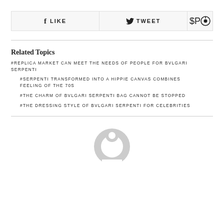LIKE | TWEET | (pinterest icon)
Related Topics
#REPLICA MARKET CAN MEET THE NEEDS OF PEOPLE FOR BVLGARI SERPENTI
#SERPENTI TRANSFORMED INTO A HIPPIE CANVAS COMBINES FEELING OF THE 70S
#THE CHARM OF BVLGARI SERPENTI BAG CANNOT BE STOPPED
#THE DRESSING STYLE OF BVLGARI SERPENTI FOR CELEBRITIES
[Figure (illustration): Grey circular avatar/user profile icon placeholder at the bottom of the page]